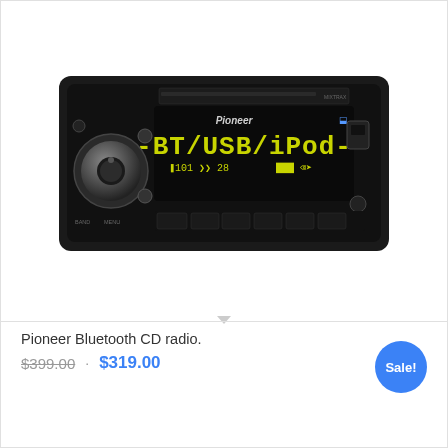[Figure (photo): Pioneer Bluetooth CD car radio unit with green LED display showing BT/USB/iPod text, silver volume knob on left, black plastic face panel with preset buttons]
Pioneer Bluetooth CD radio.
$399.00 · $319.00
Sale!